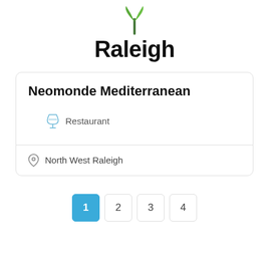[Figure (logo): Raleigh logo with green leaf/plant icon above bold black text reading 'Raleigh']
Neomonde Mediterranean
Restaurant
North West Raleigh
1 2 3 4